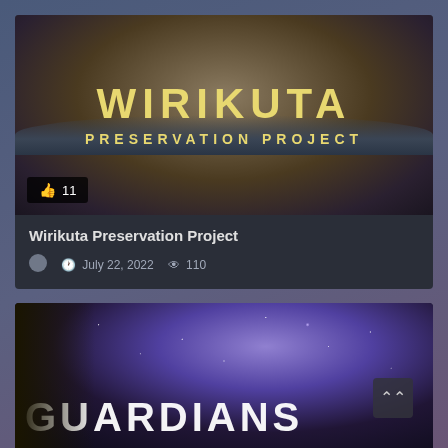[Figure (screenshot): Card showing the Wirikuta Preservation Project with a photo of a person in traditional indigenous headdress and ceremonial attire, with large golden text overlay reading WIRIKUTA PRESERVATION PROJECT, and a like badge showing 11 likes]
Wirikuta Preservation Project
July 22, 2022  110
[Figure (screenshot): Partial card showing GUARDIANS title text over a galaxy/milky way night sky background with palm frond silhouette on left, and a scroll-up button in the lower right corner]